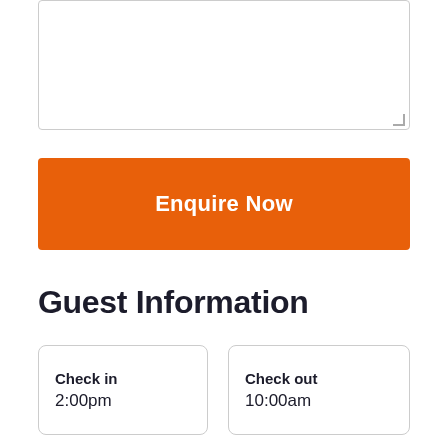[Figure (screenshot): Text area input box (empty), white background with grey border]
Enquire Now
Guest Information
Check in
2:00pm
Check out
10:00am
Arrival Info
Photo ID and a credit card pre-authorisation will be